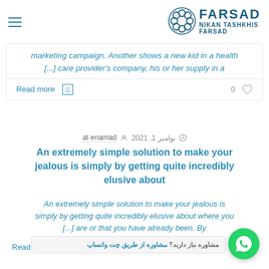[Figure (logo): FARSAD NIKAN TASHKHIS FARSAD logo with geometric circular design]
marketing campaign. Another shows a new kid in a health [...] care provider's company, his or her supply in a
Read more  0
at enamad  نوامبر 1, 2021
An extremely simple solution to make your jealous is simply by getting quite incredibly elusive about
An extremely simple solution to make your jealous is simply by getting quite incredibly elusive about where you [...] are or that you have already been. By
Read more
مشاوره نیاز دارید؟ مشاوره از طریق چت واتساپ